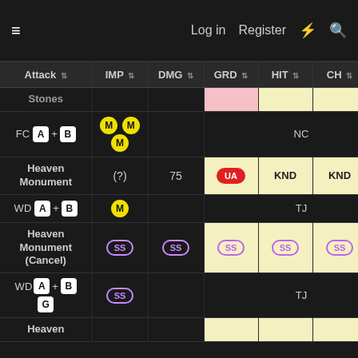≡  Log in  Register  ⚡  🔍
| Attack | IMP | DMG | GRD | HIT | CH | SC |
| --- | --- | --- | --- | --- | --- | --- |
| Stones |  |  |  |  |  |  |
| FC A+B | M M M |  | NC | NC | NC | NC |
| Heaven Monument | (?) | 75 | UA | KND | KND | UA |
| WD A+B | M |  | TJ | TJ | TJ | TJ |
| Heaven Monument (Cancel) | SS | SS | SS | SS | SS | SS |
| WD A+B G | SS |  | TJ | TJ | TJ | TJ |
| Heaven |  |  |  |  |  |  |